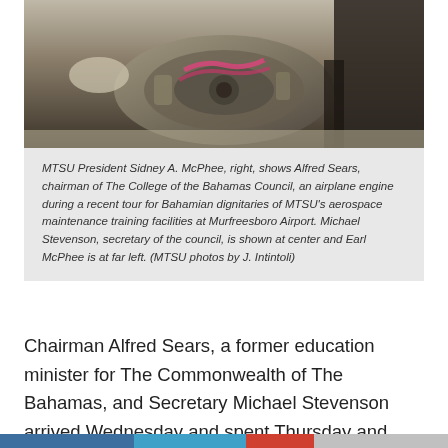[Figure (photo): Photo of people examining an airplane engine in a hangar/maintenance facility. Hands and machinery visible, person in dark clothing on the right.]
MTSU President Sidney A. McPhee, right, shows Alfred Sears, chairman of The College of the Bahamas Council, an airplane engine during a recent tour for Bahamian dignitaries of MTSU's aerospace maintenance training facilities at Murfreesboro Airport. Michael Stevenson, secretary of the council, is shown at center and Earl McPhee is at far left. (MTSU photos by J. Intintoli)
Chairman Alfred Sears, a former education minister for The Commonwealth of The Bahamas, and Secretary Michael Stevenson arrived Wednesday and spent Thursday and Friday touring the MTSU campus and